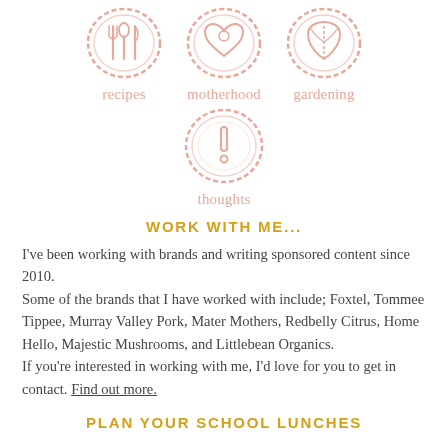[Figure (illustration): Three salmon/coral colored sketchy circular icons for recipes, motherhood, and gardening with labels below each]
[Figure (illustration): Single salmon/coral sketchy circular icon with exclamation mark for 'thoughts' section]
WORK WITH ME...
I've been working with brands and writing sponsored content since 2010.
Some of the brands that I have worked with include; Foxtel, Tommee Tippee, Murray Valley Pork, Mater Mothers, Redbelly Citrus, Home Hello, Majestic Mushrooms, and Littlebean Organics.
If you're interested in working with me, I'd love for you to get in contact. Find out more.
PLAN YOUR SCHOOL LUNCHES